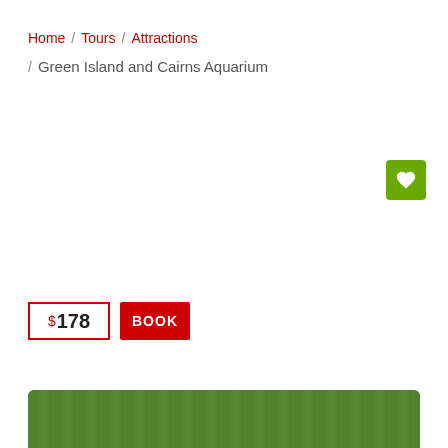Home / Tours / Attractions
/ Green Island and Cairns Aquarium
[Figure (other): Green heart/wishlist button (green square with white heart icon)]
$ 178
BOOK
[Figure (photo): Photo strip of green tropical foliage at the bottom of the page]